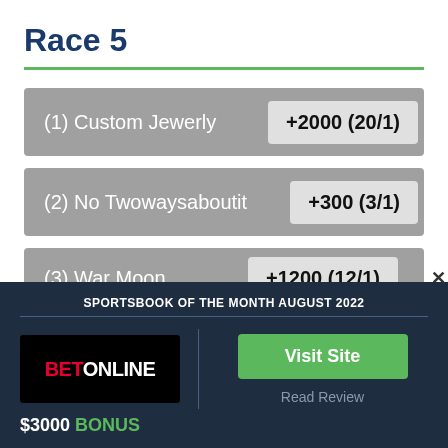Race 5
(1) Custom Jewerly +2000 (20/1)
(2) No Twowaysaboutit +300 (3/1)
(3) War Moon +1200 (12/1)
SPORTSBOOK OF THE MONTH AUGUST 2022
[Figure (logo): BetOnline logo on black background]
$3000 BONUS
Visit Site
Read Review